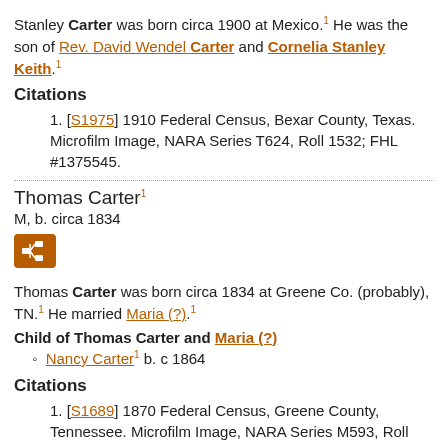Stanley Carter was born circa 1900 at Mexico.¹ He was the son of Rev. David Wendel Carter and Cornelia Stanley Keith.¹
Citations
[S1975] 1910 Federal Census, Bexar County, Texas. Microfilm Image, NARA Series T624, Roll 1532; FHL #1375545.
Thomas Carter¹
M, b. circa 1834
[Figure (other): Orange icon button with family tree / pedigree chart symbol]
Thomas Carter was born circa 1834 at Greene Co. (probably), TN.¹ He married Maria (?).¹
Child of Thomas Carter and Maria (?)
Nancy Carter¹ b. c 1864
Citations
[S1689] 1870 Federal Census, Greene County, Tennessee. Microfilm Image, NARA Series M593, Roll 1531; FHL #553030.